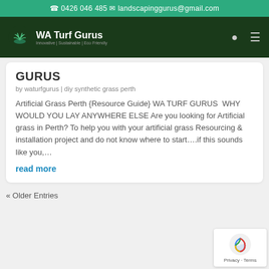0426 046 485   landscapinggurus@gmail.com
[Figure (logo): WA Turf Gurus logo with plant icon, tagline: Innovative | Sustainable | Eco Friendly]
GURUS
by waturfgurus | diy synthetic grass perth
Artificial Grass Perth {Resource Guide} WA TURF GURUS  WHY WOULD YOU LAY ANYWHERE ELSE Are you looking for Artificial grass in Perth? To help you with your artificial grass Resourcing & installation project and do not know where to start….if this sounds like you,…
read more
« Older Entries